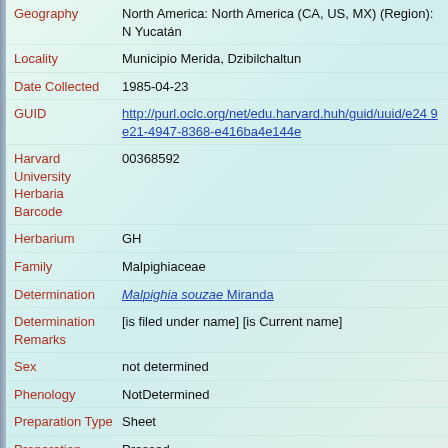Geography: North America: North America (CA, US, MX) (Region): N Yucatán
Locality: Municipio Merida, Dzibilchaltun
Date Collected: 1985-04-23
GUID: http://purl.oclc.org/net/edu.harvard.huh/guid/uuid/e24 9e21-4947-8368-e416ba4e144e
Harvard University Herbaria Barcode: 00368592
Herbarium: GH
Family: Malpighiaceae
Determination: Malpighia souzae Miranda
Determination Remarks: [is filed under name] [is Current name]
Sex: not determined
Phenology: NotDetermined
Preparation Type: Sheet
Preparation Method: Pressed